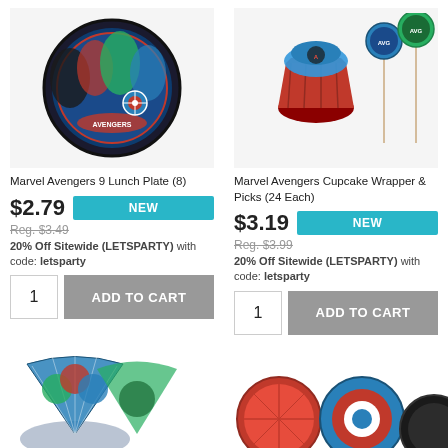[Figure (photo): Marvel Avengers 9 inch lunch plate showing Avengers characters on circular plate]
Marvel Avengers 9 Lunch Plate (8)
$2.79
NEW
Reg. $3.49
20% Off Sitewide (LETSPARTY) with code: letsparty
1
ADD TO CART
[Figure (photo): Marvel Avengers cupcake wrapper and picks set with 24 each]
Marvel Avengers Cupcake Wrapper & Picks (24 Each)
$3.19
NEW
Reg. $3.99
20% Off Sitewide (LETSPARTY) with code: letsparty
1
ADD TO CART
[Figure (photo): Marvel Avengers party hats/fans at bottom left]
[Figure (photo): Marvel superhero themed round items at bottom right]